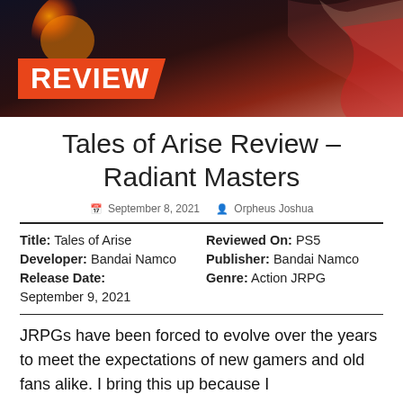[Figure (photo): Banner image showing anime-style characters with orange and red tones, overlaid with 'REVIEW' text badge on orange diagonal background]
Tales of Arise Review – Radiant Masters
September 8, 2021  Orpheus Joshua
| Title: Tales of Arise | Reviewed On: PS5 |
| Developer: Bandai Namco | Publisher: Bandai Namco |
| Release Date: September 9, 2021 | Genre: Action JRPG |
JRPGs have been forced to evolve over the years to meet the expectations of new gamers and old fans alike. I bring this up because I